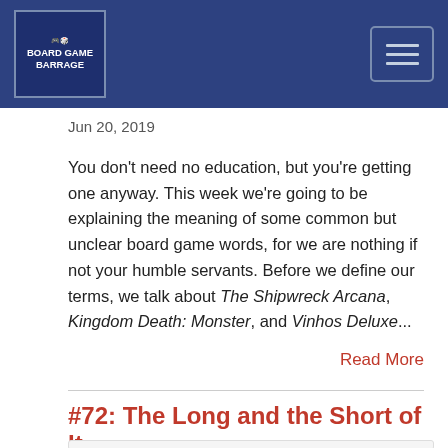Board Game Barrage
Jun 20, 2019
You don't need no education, but you're getting one anyway. This week we're going to be explaining the meaning of some common but unclear board game words, for we are nothing if not your humble servants. Before we define our terms, we talk about The Shipwreck Arcana, Kingdom Death: Monster, and Vinhos Deluxe...
Read More
#72: The Long and the Short of It
[Figure (other): Audio player widget showing Board Game Barrage podcast episode #72: The Long and the Short of It with play button, progress bar, and controls (00:00:00, RSS, download, embed, and headphones icons)]